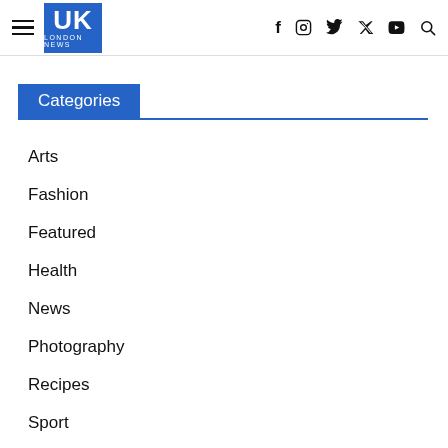UK London News — navigation header with hamburger menu, logo, and social icons (f, instagram, twitter, youtube, search)
Categories
Arts
Fashion
Featured
Health
News
Photography
Recipes
Sport
Tech
Travel